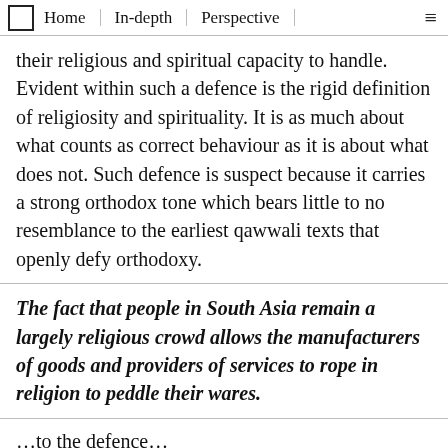Home | In-depth | Perspective
their religious and spiritual capacity to handle. Evident within such a defence is the rigid definition of religiosity and spirituality. It is as much about what counts as correct behaviour as it is about what does not. Such defence is suspect because it carries a strong orthodox tone which bears little to no resemblance to the earliest qawwali texts that openly defy orthodoxy.
The fact that people in South Asia remain a largely religious crowd allows the manufacturers of goods and providers of services to rope in religion to peddle their wares.
…to the defence…